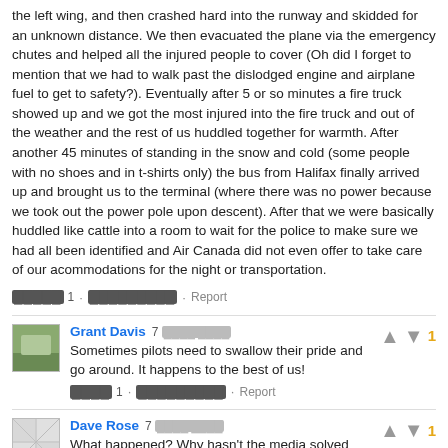the left wing, and then crashed hard into the runway and skidded for an unknown distance. We then evacuated the plane via the emergency chutes and helped all the injured people to cover (Oh did I forget to mention that we had to walk past the dislodged engine and airplane fuel to get to safety?). Eventually after 5 or so minutes a fire truck showed up and we got the most injured into the fire truck and out of the weather and the rest of us huddled together for warmth. After another 45 minutes of standing in the snow and cold (some people with no shoes and in t-shirts only) the bus from Halifax finally arrived up and brought us to the terminal (where there was no power because we took out the power pole upon descent). After that we were basically huddled like cattle into a room to wait for the police to make sure we had all been identified and Air Canada did not even offer to take care of our acommodations for the night or transportation.
[redacted] 1 · [redacted] · Report
Grant Davis 7 [redacted]
Sometimes pilots need to swallow their pride and go around. It happens to the best of us!
[redacted] 1 · [redacted] · Report
Dave Rose 7 [redacted]
What happened? Why hasn't the media solved this one already...they certainly solved the Germanwings crash already...sarc.
[redacted] 1 · [redacted] · Report